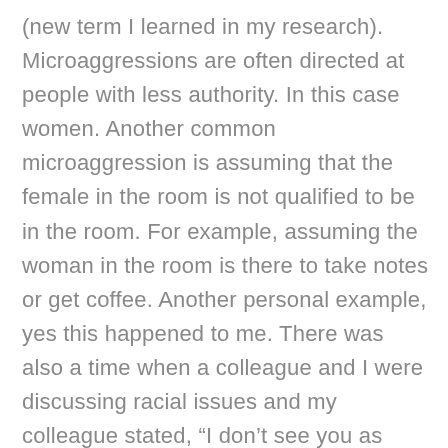(new term I learned in my research). Microaggressions are often directed at people with less authority. In this case women. Another common microaggression is assuming that the female in the room is not qualified to be in the room. For example, assuming the woman in the room is there to take notes or get coffee. Another personal example, yes this happened to me. There was also a time when a colleague and I were discussing racial issues and my colleague stated, “I don’t see you as black.”. Was this a compliment, a statement to prove they don’t see color, or something negative? I have to say, I did not ask, I went on with the conversation and pondered about it ever since. Not going down this rabbit hole today.